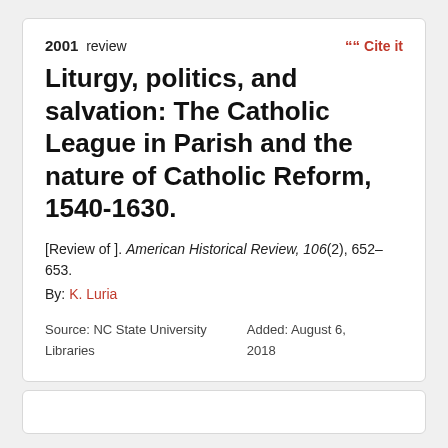2001 review
Cite it
Liturgy, politics, and salvation: The Catholic League in Parish and the nature of Catholic Reform, 1540-1630.
[Review of ]. American Historical Review, 106(2), 652–653.
By: K. Luria
Source: NC State University Libraries
Added: August 6, 2018